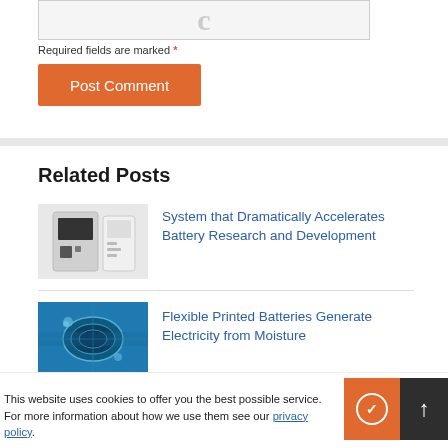[Figure (screenshot): Partial input/text-area form field with a grey background and a faint letter 'c' icon]
Required fields are marked *
Post Comment
Related Posts
[Figure (photo): Lab equipment - white battery testing system device]
System that Dramatically Accelerates Battery Research and Development
[Figure (photo): Blue cylindrical printed batteries close-up]
Flexible Printed Batteries Generate Electricity from Moisture
This website uses cookies to offer you the best possible service. For more information about how we use them see our privacy policy.